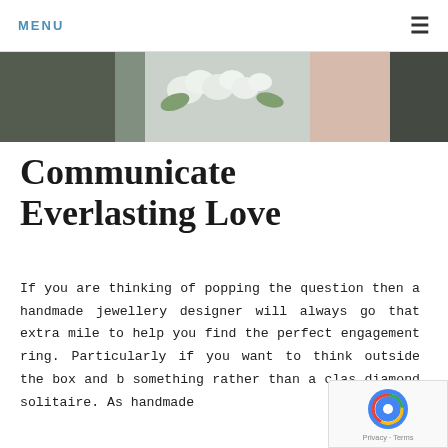MENU
[Figure (photo): Partial photo strip showing flowers and nature scene, cropped at top]
Communicate Everlasting Love
If you are thinking of popping the question then a handmade jewellery designer will always go that extra mile to help you find the perfect engagement ring. Particularly if you want to think outside the box and b something rather than a clas diamond solitaire. As handmade